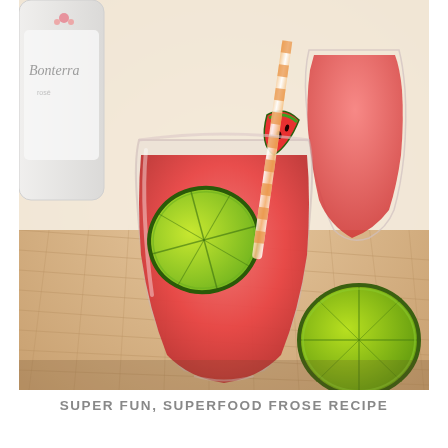[Figure (photo): A photograph of a watermelon frosé drink in a clear stemless glass garnished with a lime wheel and watermelon slice, with a striped paper straw. A second similar drink is visible in the background on the right. A halved lime is also visible on the right side. A bottle labeled 'Bonterra' is partially visible in the upper left. The drinks are placed on a woven placemat surface.]
SUPER FUN, SUPERFOOD FROSE RECIPE